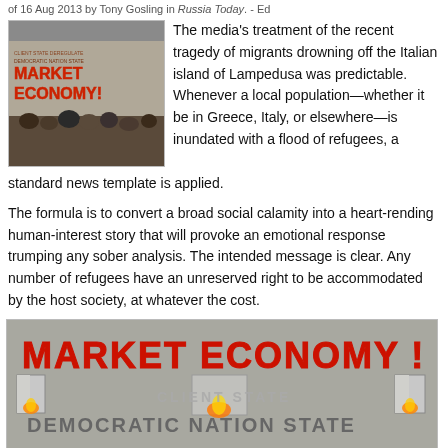of 16 Aug 2013 by Tony Gosling in Russia Today. - Ed
[Figure (photo): Photo of a protest crowd with a building in the background showing graffiti 'MARKET ECONOMY!' in red letters]
The media's treatment of the recent tragedy of migrants drowning off the Italian island of Lampedusa was predictable. Whenever a local population—whether it be in Greece, Italy, or elsewhere—is inundated with a flood of refugees, a standard news template is applied.
The formula is to convert a broad social calamity into a heart-rending human-interest story that will provoke an emotional response trumping any sober analysis. The intended message is clear. Any number of refugees have an unreserved right to be accommodated by the host society, at whatever the cost.
[Figure (photo): Large photo of a building wall covered in red graffiti reading 'MARKET ECONOMY!' with flames visible in windows, and additional graffiti text 'CLIENT STATE', 'DEMOCRATIC NATION STATE', 'DEREGUL...', 'CITIZENSHIP-', 'MUST SELL']